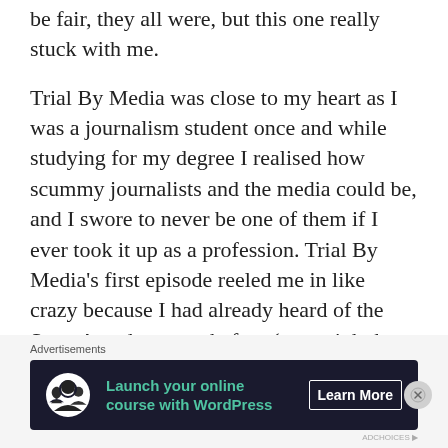be fair, they all were, but this one really stuck with me.
Trial By Media was close to my heart as I was a journalism student once and while studying for my degree I realised how scummy journalists and the media could be, and I swore to never be one of them if I ever took it up as a profession. Trial By Media's first episode reeled me in like crazy because I had already heard of the Scott Amedure case before (you might have as well, it was a popular story!) and the way Netflix filmed the episode was really immersive and detailed.
[Figure (other): Advertisement banner: 'Launch your online course with WordPress' with a Learn More button, on dark background with tree/person icon]